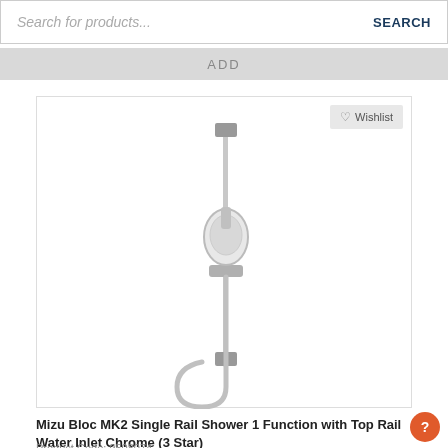Search for products...    SEARCH
ADD
[Figure (photo): Mizu Bloc MK2 single rail shower set with handheld showerhead on a vertical rail, chrome finish, shown on white background]
Mizu Bloc MK2 Single Rail Shower 1 Function with Top Rail Water Inlet Chrome (3 Star)
Product Code: 9508074